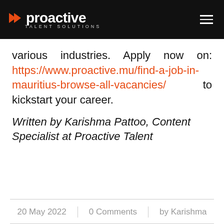proactive TALENT SOLUTIONS
various industries. Apply now on: https://www.proactive.mu/find-a-job-in-mauritius-browse-all-vacancies/ to kickstart your career.
Written by Karishma Pattoo, Content Specialist at Proactive Talent
20 May 2022 | 0 Comments | by Karishma